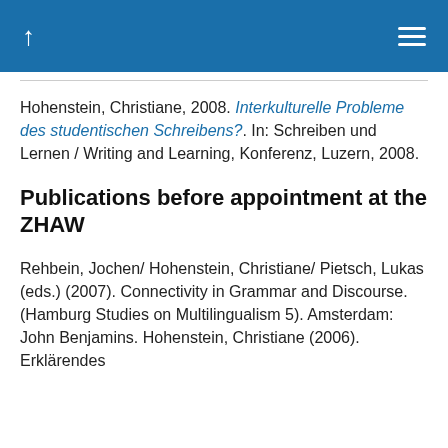↑ ≡
Hohenstein, Christiane, 2008. Interkulturelle Probleme des studentischen Schreibens?. In: Schreiben und Lernen / Writing and Learning, Konferenz, Luzern, 2008.
Publications before appointment at the ZHAW
Rehbein, Jochen/ Hohenstein, Christiane/ Pietsch, Lukas (eds.) (2007). Connectivity in Grammar and Discourse. (Hamburg Studies on Multilingualism 5). Amsterdam: John Benjamins. Hohenstein, Christiane (2006). Erklärendes